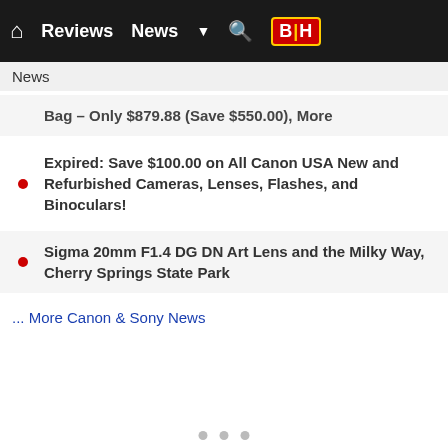Home | Reviews | News ▼ 🔍 B&H
News
Bag – Only $879.88 (Save $550.00), More
Expired: Save $100.00 on All Canon USA New and Refurbished Cameras, Lenses, Flashes, and Binoculars!
Sigma 20mm F1.4 DG DN Art Lens and the Milky Way, Cherry Springs State Park
... More Canon & Sony News